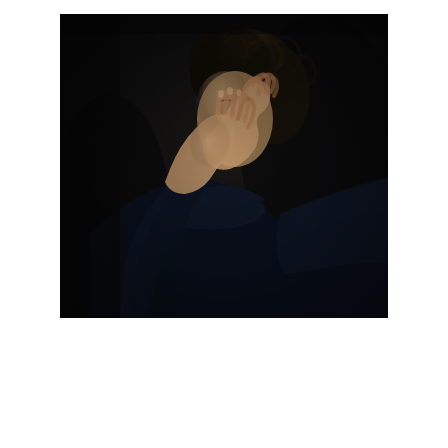[Figure (photo): A person wearing a dark navy turtleneck sweater with curly hair, hands raised to their face in a gesture suggesting distress, worry, or emotional pain. The background is very dark. The mood of the photograph is somber and evocative of mental or emotional suffering.]